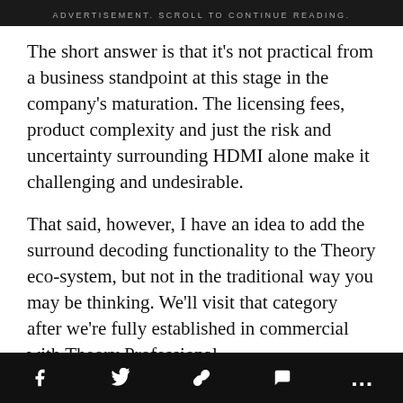ADVERTISEMENT. SCROLL TO CONTINUE READING.
The short answer is that it's not practical from a business standpoint at this stage in the company's maturation. The licensing fees, product complexity and just the risk and uncertainty surrounding HDMI alone make it challenging and undesirable.
That said, however, I have an idea to add the surround decoding functionality to the Theory eco-system, but not in the traditional way you may be thinking. We'll visit that category after we're fully established in commercial with Theory Professional.
Where do you see loudspeaker design moving in this specific category? Consumers see the term “wireless” and get all excited, but can a wireless loudspeaker system really deliver the level of performance that this
f  🐦  🔗  💬  …